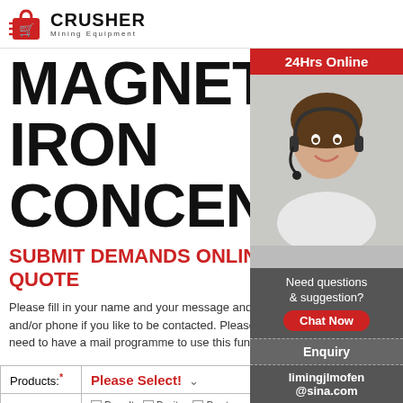CRUSHER Mining Equipment
MAGNETITE IN IRON CONCENTRA
SUBMIT DEMANDS ONLINE AND QUOTE
Please fill in your name and your message and do not forget mail and/or phone if you like to be contacted. Please note that you need to have a mail programme to use this function.
| Products:* | Please Select! |
| --- | --- |
| Materials:* | Basalt  Barite  Bento  Calcite  Coal  Coppe |
[Figure (photo): Customer service representative wearing headset, smiling. Orange '24Hrs Online' banner at top. Gray panel with 'Need questions & suggestion?' text and red 'Chat Now' button. 'Enquiry' bar. 'limingjlmofen@sina.com' contact at bottom.]